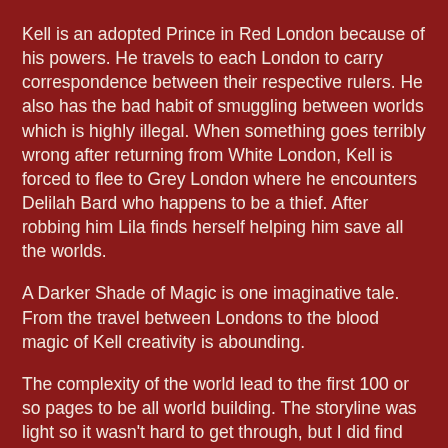Kell is an adopted Prince in Red London because of his powers. He travels to each London to carry correspondence between their respective rulers. He also has the bad habit of smuggling between worlds which is highly illegal. When something goes terribly wrong after returning from White London, Kell is forced to flee to Grey London where he encounters Delilah Bard who happens to be a thief. After robbing him Lila finds herself helping him save all the worlds.
A Darker Shade of Magic is one imaginative tale. From the travel between Londons to the blood magic of Kell creativity is abounding.
The complexity of the world lead to the first 100 or so pages to be all world building. The storyline was light so it wasn't hard to get through, but I did find myself wondering if there was actually a plot to the story. The plot is there and it's the standard solid save everything from evil story.
The biggest weakness I found in the book were the characters. I was indifferent regarding Kell, his family, his bad habits, and his life in general. I'm not worrying As